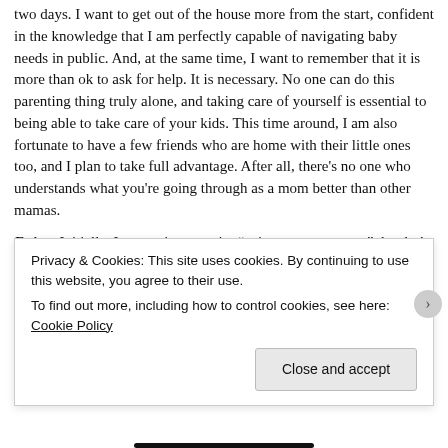two days. I want to get out of the house more from the start, confident in the knowledge that I am perfectly capable of navigating baby needs in public. And, at the same time, I want to remember that it is more than ok to ask for help. It is necessary. No one can do this parenting thing truly alone, and taking care of yourself is essential to being able to take care of your kids. This time around, I am also fortunate to have a few friends who are home with their little ones too, and I plan to take full advantage. After all, there's no one who understands what you're going through as a mom better than other mamas.
Enjoy: Initially, I was going to write "enjoy every moment", but let's be real. Some moments...they're not going to be so great and I'm not going to enjoy them. Some moments are going to royally suck. That's ok. There are lots of moments that will more t a
Privacy & Cookies: This site uses cookies. By continuing to use this website, you agree to their use.
To find out more, including how to control cookies, see here: Cookie Policy
Close and accept